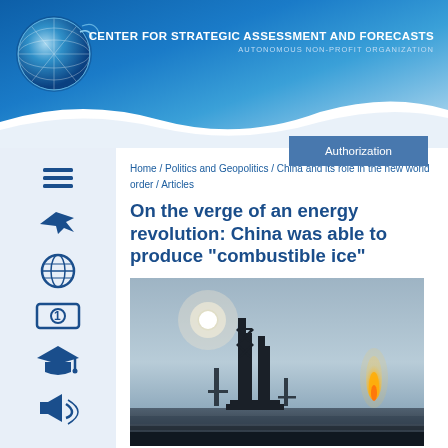CENTER FOR STRATEGIC ASSESSMENT AND FORECASTS
AUTONOMOUS NON-PROFIT ORGANIZATION
Authorization
Home / Politics and Geopolitics / China and its role in the new world order / Articles
On the verge of an energy revolution: China was able to produce "combustible ice"
[Figure (photo): Oil drilling rig silhouetted against a hazy sky with bright sun, and a flame visible on the right side — an offshore or land-based industrial energy facility.]